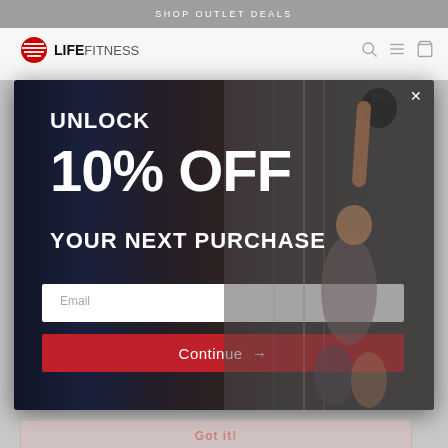SHOP OUTLET DEALS
[Figure (screenshot): Life Fitness website header with logo on left and navigation icons (search, menu, cart) on right, shown in white/grey band]
[Figure (screenshot): Modal popup overlay on gym background image showing an athlete doing a kettlebell press. Modal contains promotional offer text, email input field, and Continue button.]
UNLOCK
10% OFF
YOUR NEXT PURCHASE
Email
Continue →
Got it!